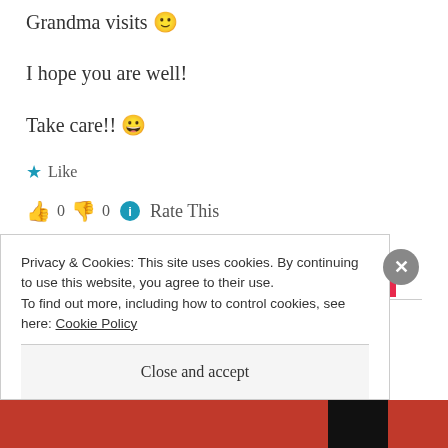Grandma visits 🙂
I hope you are well!
Take care!! 😀
★ Like
👍 0 👎 0 ℹ Rate This
REPLY
Privacy & Cookies: This site uses cookies. By continuing to use this website, you agree to their use.
To find out more, including how to control cookies, see here: Cookie Policy
Close and accept